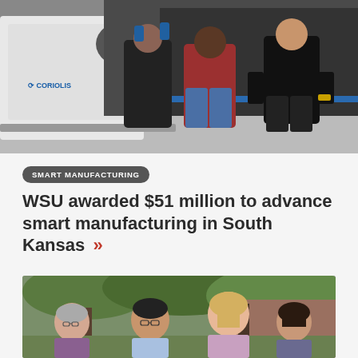[Figure (photo): Three people working with a Coriolis composite fiber placement machine in an industrial/lab setting. Machine is white with blue Coriolis logo visible.]
SMART MANUFACTURING
WSU awarded $51 million to advance smart manufacturing in South Kansas »»
[Figure (photo): Group of four people (three women and one man) standing outdoors in front of trees and a brick wall, smiling at the camera.]